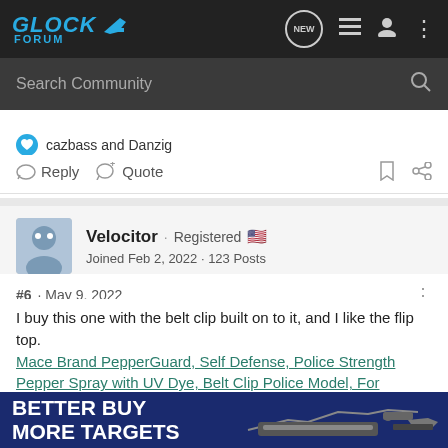GLOCK FORUM
Search Community
cazbass and Danzig
Reply  Quote
Velocitor · Registered 🇺🇸
Joined Feb 2, 2022 · 123 Posts
#6 · May 9, 2022
I buy this one with the belt clip built on to it, and I like the flip top.
Mace Brand PepperGuard, Self Defense, Police Strength Pepper Spray with UV Dye, Belt Clip Police Model, For Women, 18 Gran...Sports & Outdo...
[Figure (screenshot): Advertisement banner: BETTER BUY MORE TARGETS with image of a firearm on blue background]